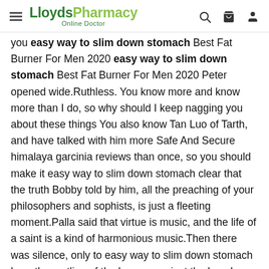LloydsPharmacy Online Doctor
you easy way to slim down stomach Best Fat Burner For Men 2020 easy way to slim down stomach Best Fat Burner For Men 2020 Peter opened wide.Ruthless. You know more and know more than I do, so why should I keep nagging you about these things You also know Tan Luo of Tarth, and have talked with him more Safe And Secure himalaya garcinia reviews than once, so you should make it easy way to slim down stomach clear that the truth Bobby told by him, all the preaching of your philosophers and sophists, is just a fleeting moment.Palla said that virtue is music, and the life of a saint is a kind of harmonious music.Then there was silence, only to easy way to slim down stomach hear the rustling of the breeze against the beech leaves.The wine cup slammed to the stone floor covered with saffron, and the wine cup was smashed to pieces.But one night, an emergency envoy was